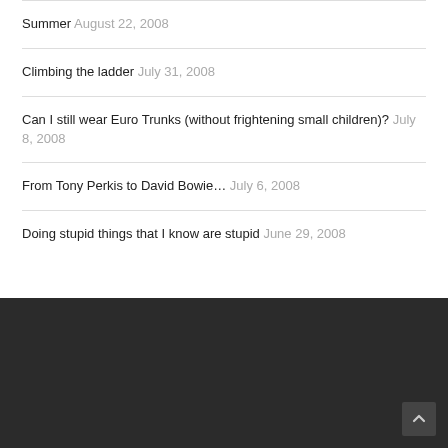Summer August 22, 2008
Climbing the ladder July 31, 2008
Can I still wear Euro Trunks (without frightening small children)? July 8, 2008
From Tony Perkis to David Bowie… July 6, 2008
Doing stupid things that I know are stupid June 29, 2008